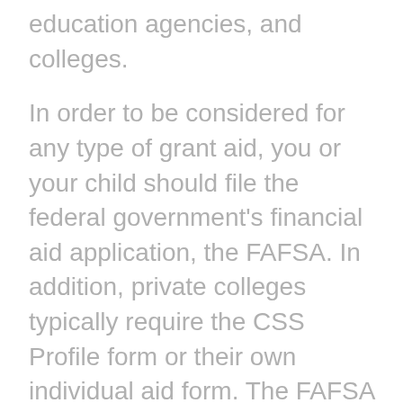education agencies, and colleges.
In order to be considered for any type of grant aid, you or your child should file the federal government's financial aid application, the FAFSA. In addition, private colleges typically require the CSS Profile form or their own individual aid form. The FAFSA and CSS Profile can be filled out and submitted online (the FAFSA is free but the CSS Profile has a fee). These forms do require some time to complete, but the time spent is worth it. Not only are these forms a prerequisite to various types of grant aid, but some colleges may require them in order for students to be eligible for college merit scholarships. Keep in mind that